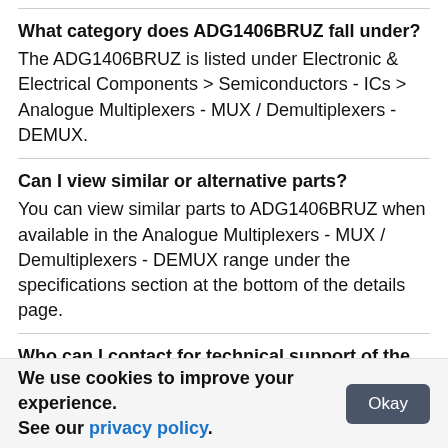What category does ADG1406BRUZ fall under?
The ADG1406BRUZ is listed under Electronic & Electrical Components > Semiconductors - ICs > Analogue Multiplexers - MUX / Demultiplexers - DEMUX.
Can I view similar or alternative parts?
You can view similar parts to ADG1406BRUZ when available in the Analogue Multiplexers - MUX / Demultiplexers - DEMUX range under the specifications section at the bottom of the details page.
Who can I contact for technical support of the product?
Submit any questions directly to the customer support team of the distributor listing the product. For the
We use cookies to improve your experience. See our privacy policy.